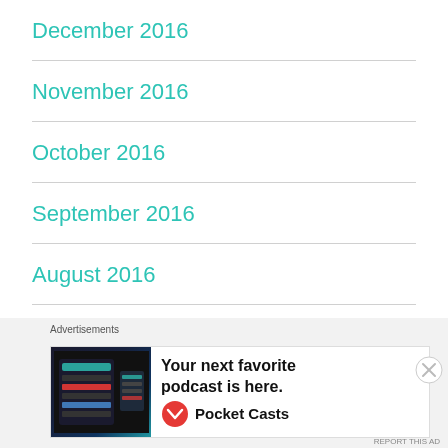December 2016
November 2016
October 2016
September 2016
August 2016
July 2016
June 2016
Advertisements
[Figure (infographic): Pocket Casts advertisement: 'Your next favorite podcast is here.' with Pocket Casts logo and app screenshot]